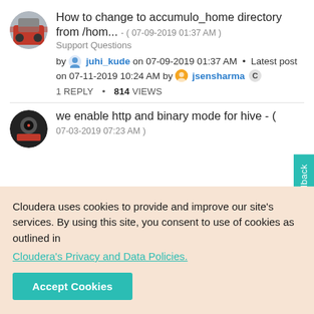How to change to accumulo_home directory from /hom... - ( 07-09-2019 01:37 AM )
Support Questions
by juhi_kude on 07-09-2019 01:37 AM • Latest post on 07-11-2019 10:24 AM by jsensharma
1 REPLY • 814 VIEWS
we enable http and binary mode for hive - ( 07-03-2019 07:23 AM )
Cloudera uses cookies to provide and improve our site's services. By using this site, you consent to use of cookies as outlined in Cloudera's Privacy and Data Policies.
Accept Cookies